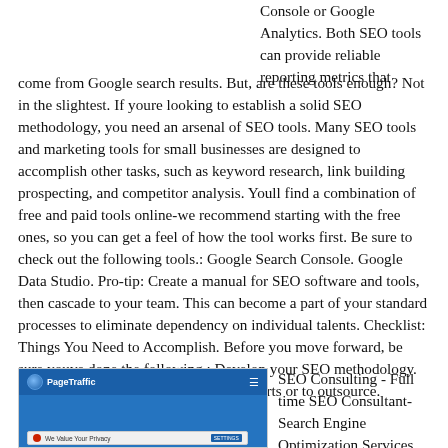Console or Google Analytics. Both SEO tools can provide reliable reporting metrics that come from Google search results. But, are these tools enough? Not in the slightest. If youre looking to establish a solid SEO methodology, you need an arsenal of SEO tools. Many SEO tools and marketing tools for small businesses are designed to accomplish other tasks, such as keyword research, link building prospecting, and competitor analysis. Youll find a combination of free and paid tools online-we recommend starting with the free ones, so you can get a feel of how the tool works first. Be sure to check out the following tools.: Google Search Console. Google Data Studio. Pro-tip: Create a manual for SEO software and tools, then cascade to your team. This can become a part of your standard processes to eliminate dependency on individual talents. Checklist: Things You Need to Accomplish. Before you move forward, be sure youve done the following.: Develop your SEO methodology. Determine whether to hire in-house experts or to outsource.
[Figure (screenshot): Screenshot of PageTraffic website showing a cookie consent bar over a blue background with the PageTraffic logo and navigation menu]
SEO Consulting - Full time SEO Consultant- Search Engine Optimization Services.